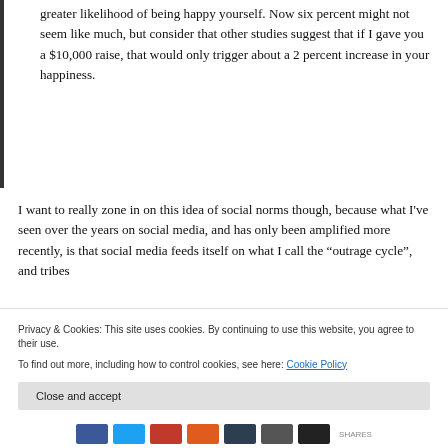greater likelihood of being happy yourself. Now six percent might not seem like much, but consider that other studies suggest that if I gave you a $10,000 raise, that would only trigger about a 2 percent increase in your happiness.
I want to really zone in on this idea of social norms though, because what I've seen over the years on social media, and has only been amplified more recently, is that social media feeds itself on what I call the “outrage cycle”, and tribes
Privacy & Cookies: This site uses cookies. By continuing to use this website, you agree to their use.
To find out more, including how to control cookies, see here: Cookie Policy
Close and accept